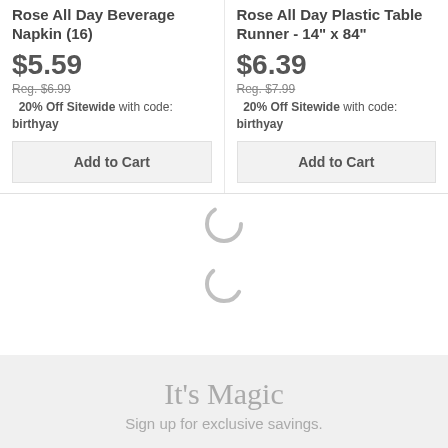Rose All Day Beverage Napkin (16)
$5.59
Reg. $6.99
20% Off Sitewide with code: birthyay
Rose All Day Plastic Table Runner - 14" x 84"
$6.39
Reg. $7.99
20% Off Sitewide with code: birthyay
[Figure (other): Two loading spinner icons (arc/circle shapes) indicating content is loading]
It's Magic
Sign up for exclusive savings.